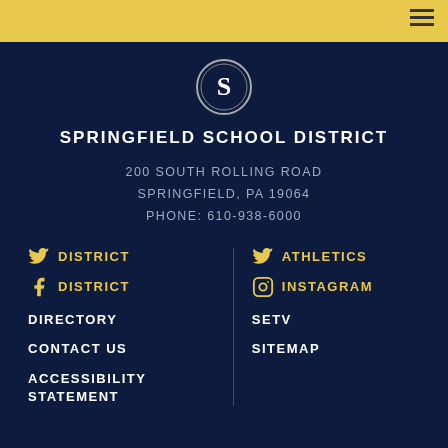Springfield School District website header with navigation hamburger menu
[Figure (logo): Springfield School District circular logo with letter S]
SPRINGFIELD SCHOOL DISTRICT
200 SOUTH ROLLING ROAD
SPRINGFIELD, PA 19064
PHONE: 610-938-6000
Twitter DISTRICT
Twitter ATHLETICS
Facebook DISTRICT
Instagram INSTAGRAM
DIRECTORY
SETV
CONTACT US
SITEMAP
ACCESSIBILITY STATEMENT